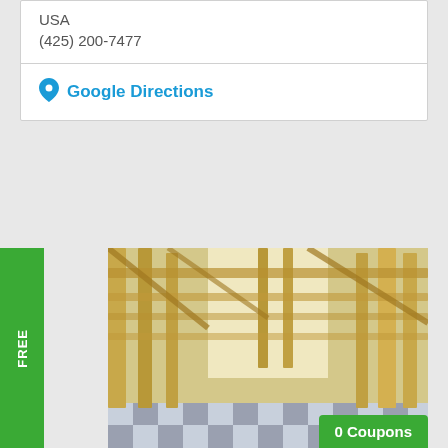USA
(425) 200-7477
Google Directions
[Figure (photo): Interior view of a wooden building frame structure with vertical and horizontal timber beams, showing construction framing with light coming through. A checkered floor pattern is visible at the bottom.]
FREE
0 Coupons